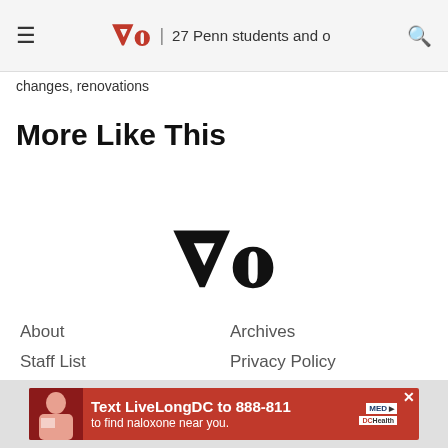DP | 27 Penn students and o...
changes, renovations
More Like This
[Figure (logo): Daily Pennsylvanian DP blackletter logo centered on page]
About
Archives
Staff List
Privacy Policy
Terms of Service
Advertise
Donate
Community Guide
DPAA
Contact Us
[Figure (infographic): Red advertisement banner: Text LiveLongDC to 888-811 to find naloxone near you.]